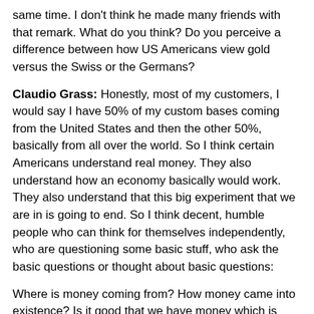same time. I don't think he made many friends with that remark. What do you think? Do you perceive a difference between how US Americans view gold versus the Swiss or the Germans?
Claudio Grass: Honestly, most of my customers, I would say I have 50% of my custom bases coming from the United States and then the other 50%, basically from all over the world. So I think certain Americans understand real money. They also understand how an economy basically would work. They also understand that this big experiment that we are in is going to end. So I think decent, humble people who can think for themselves independently, who are questioning some basic stuff, who ask the basic questions or thought about basic questions:
Where is money coming from? How money came into existence? Is it good that we have money which is depreciating over time? Private property rights, stuff like that.
Keith Weiner: Depreciating money creates jobs and exports and prc
Claudi